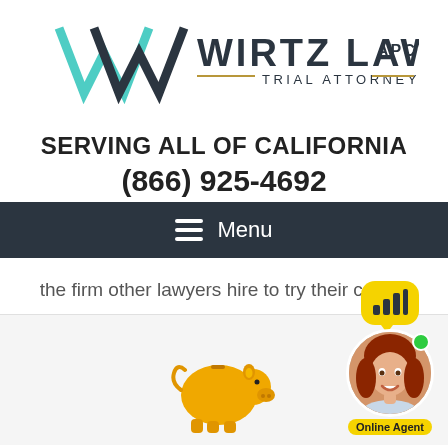[Figure (logo): Wirtz Law APC Trial Attorneys logo with teal and dark W mark and gold horizontal lines]
SERVING ALL OF CALIFORNIA
(866) 925-4692
[Figure (screenshot): Navigation menu bar with hamburger icon and Menu label on dark background]
the firm other lawyers hire to try their cases.
[Figure (illustration): Golden piggy bank icon]
[Figure (photo): Online Agent widget with smiling red-haired woman photo and yellow chat bubble with bar chart icon, green status dot, Online Agent label]